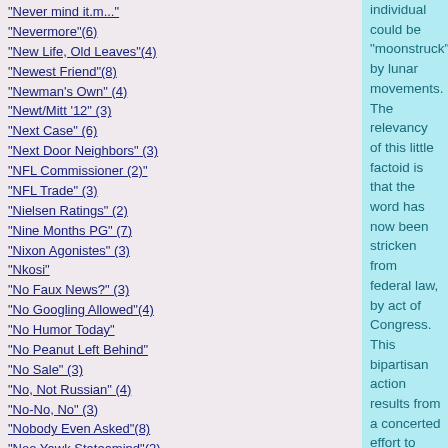"Never mind it.m..."
"Nevermore"(6)
"New Life, Old Leaves"(4)
"Newest Friend"(8)
"Newman's Own" (4)
"Newt/Mitt '12" (3)
"Next Case" (6)
"Next Door Neighbors" (3)
"NFL Commissioner (2)"
"NFL Trade" (3)
"Nielsen Ratings" (2)
"Nine Months PG" (7)
"Nixon Agonistes" (3)
"Nkosi"
"No Faux News?" (3)
"No Googling Allowed"(4)
"No Humor Today"
"No Peanut Left Behind"
"No Sale" (3)
"No, Not Russian" (4)
"No-No, No" (3)
"Nobody Even Asked"(8)
"Noo Yawk Stateamind"(2)
"Not a Bang,a Whimper" (7)
"Not Funny, Dr Jones"(5)
"Not North Carolina" (6)
"Not Percy Sledge?" (3)
"Not Percy Sledge?"(3)
individual could be "moonstruck" by lunar movements.  The relevancy of this little factoid is that the word has now been stricken from federal law, by act of Congress.  This bipartisan action results from a concerted effort to remove language from the US Code that is outmoded or demeaning.  So "lunatic" joins "retard," at least in its usage, and similar terminology.

Frodo's attention was caught by the almost universal support from the professional community for said action, and, in fact, by the vote in Congress.  By a margin of 397 votes (398 to 1), the House of